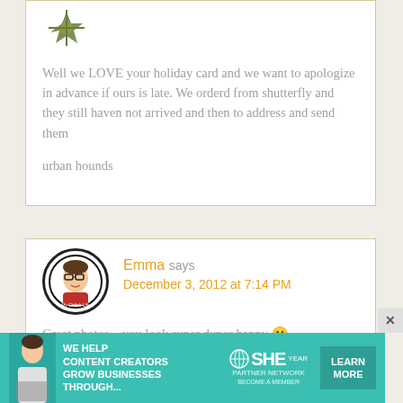[Figure (illustration): Partial avatar/logo image at top of first comment block, olive/green decorative icon]
Well we LOVE your holiday card and we want to apologize in advance if ours is late. We orderd from shutterfly and they still haven not arrived and then to address and send them

urban hounds
[Figure (illustration): Circular avatar with cartoon character wearing glasses and holding something, black circle border, text 'My Girlish Life' at bottom]
Emma says
December 3, 2012 at 7:14 PM
Great photos – you look super duper happy 🙂
[Figure (infographic): SHE Partner Network advertisement banner. Text: WE HELP CONTENT CREATORS GROW BUSINESSES THROUGH... with LEARN MORE button. Teal/turquoise background.]